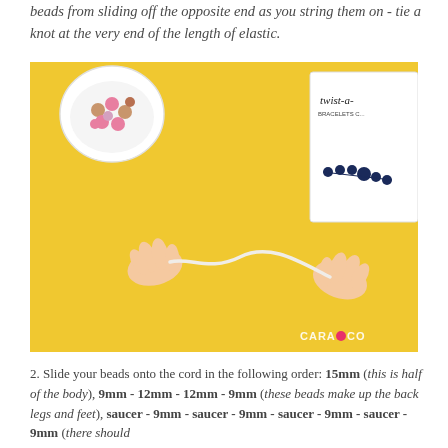beads from sliding off the opposite end as you string them on - tie a knot at the very end of the length of elastic.
[Figure (photo): Hands holding and stretching a white elastic cord on a yellow surface. A white bowl with pink and brown beads is in the upper left. A Cara & Co bracelet packaging card is visible in the upper right. CARA&CO watermark in lower right corner.]
2. Slide your beads onto the cord in the following order: 15mm (this is half of the body), 9mm - 12mm - 12mm - 9mm (these beads make up the back legs and feet), saucer - 9mm - saucer - 9mm - saucer - 9mm - saucer - 9mm (there should be four of each, alternating on between each saucer...